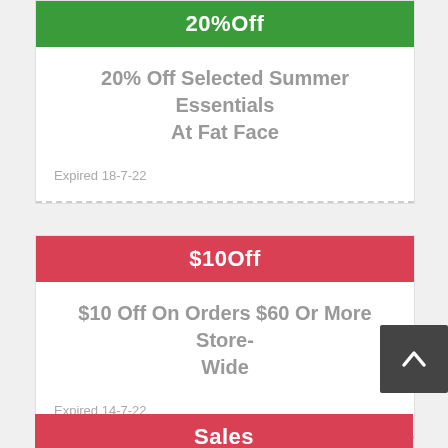20%Off
20% Off Selected Summer Essentials At Fat Face
Expired 18-7-22
$10Off
$10 Off On Orders $60 Or More Store-Wide
Expired 14-7-22
Sales